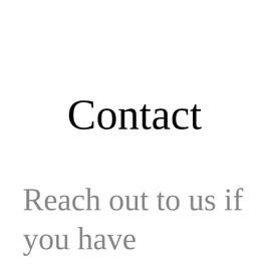Contact
Reach out to us if you have